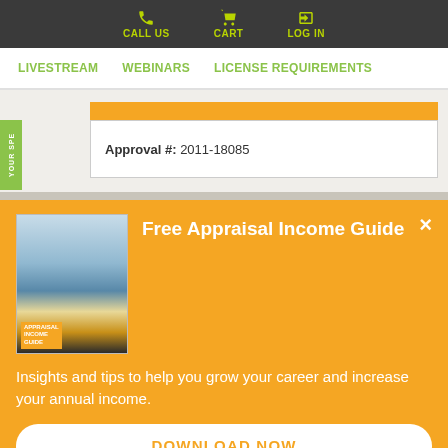CALL US | CART | LOG IN
LIVESTREAM | WEBINARS | LICENSE REQUIREMENTS
Approval #: 2011-18085
YOUR SPE
Free Appraisal Income Guide
Insights and tips to help you grow your career and increase your annual income.
DOWNLOAD NOW